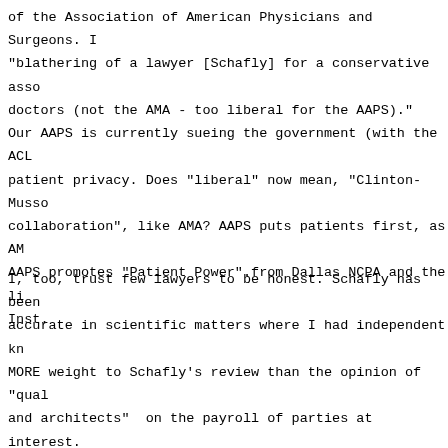of the Association of American Physicians and Surgeons. I "blathering of a lawyer [Schafly] for a conservative asso doctors (not the AMA - too liberal for the AAPS)." Our AAPS is currently sueing the government (with the ACL patient privacy. Does "liberal" now mean, "Clinton-Musso collaboration", like AMA? AAPS puts patients first, as AM AAPS promotes "Patient Power".from Dallas NCPA and the li Inst.
I, too, trust few lawyers to be honest. Schafly has been accurate in scientific matters where I had independent kn MORE weight to Schafly's review than the opinion of "qual and architects"  on the payroll of parties at interest.